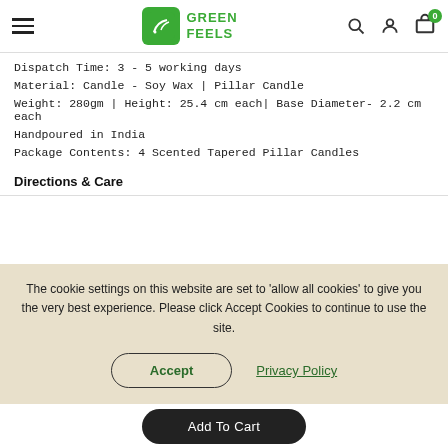Green Feels — navigation header with hamburger menu, logo, search, account, and cart icons
Dispatch Time: 3 - 5 working days
Material: Candle - Soy Wax | Pillar Candle
Weight: 280gm | Height: 25.4 cm each| Base Diameter- 2.2 cm each
Handpoured in India
Package Contents: 4 Scented Tapered Pillar Candles
Directions & Care
The cookie settings on this website are set to 'allow all cookies' to give you the very best experience. Please click Accept Cookies to continue to use the site.
Accept
Privacy Policy
Add To Cart